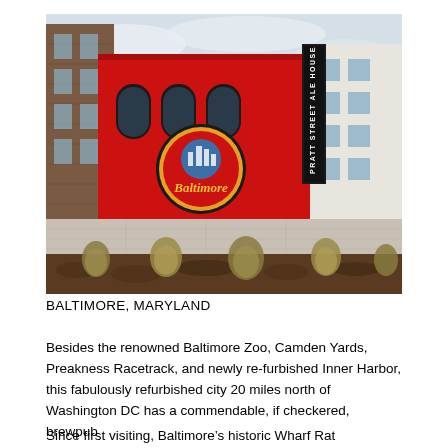[Figure (photo): Exterior photograph of the Pratt Street Ale House in Baltimore, Maryland. The building has a large red facade with the Baltimore logo painted on it. A vertical sign on the right side reads 'PRATT STREET ALE HOUSE'. The foreground shows a landscaped area with mulch and ornamental grasses. A brick multi-story building is visible to the left.]
BALTIMORE, MARYLAND
Besides the renowned Baltimore Zoo, Camden Yards, Preakness Racetrack, and newly re-furbished Inner Harbor, this fabulously refurbished city 20 miles north of Washington DC has a commendable, if checkered, brewpub history.
Since first visiting, Baltimore’s historic Wharf Rat